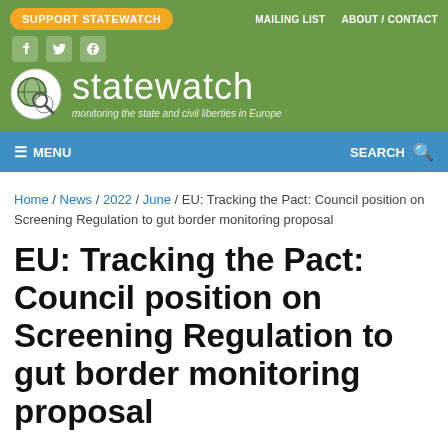SUPPORT STATEWATCH | MAILING LIST | ABOUT / CONTACT
[Figure (logo): Statewatch website header with logo, site name 'statewatch', tagline 'monitoring the state and civil liberties in Europe', social media icons (Facebook, Twitter, RSS), and navigation bar with MENU and SEARCH]
Home / News / 2022 / June / EU: Tracking the Pact: Council position on Screening Regulation to gut border monitoring proposal
EU: Tracking the Pact: Council position on Screening Regulation to gut border monitoring proposal